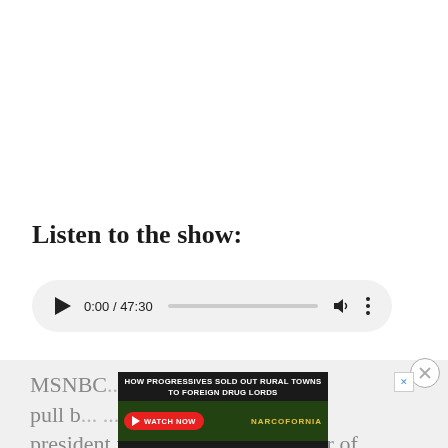Listen to the show:
[Figure (other): Audio player widget showing playback controls: play button, time display 0:00 / 47:30, progress bar, volume icon, and more options icon on a light gray rounded pill background.]
[Figure (other): Advertisement overlay: 'HOW PROGRESSIVES SOLD OUT RURAL TOWNS TO FOREIGN DRUG LORDS' with a WATCH NOW button and NARCOFORNIA branding on a dark background with green leafy imagery.]
MSNBC... ...ed to pull b... ...the president for "inciting" the murder of... ...the